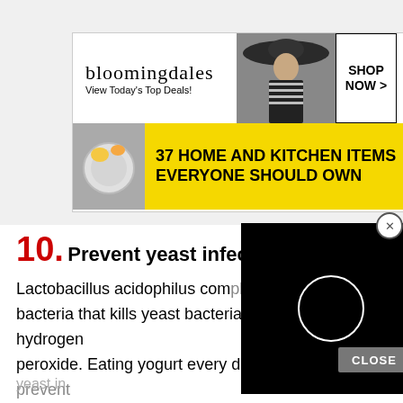[Figure (screenshot): Bloomingdale's advertisement banner: top section shows logo and 'View Today's Top Deals!' with a woman in a large hat and 'SHOP NOW' button; bottom section has yellow background with '37 HOME AND KITCHEN ITEMS EVERYONE SHOULD OWN']
10. Prevent yeast infections
Lactobacillus acidophilus contains a probiotic bacteria that kills yeast bacteria by producing hydrogen peroxide. Eating yogurt every day can help prevent yeast infections
[Figure (screenshot): Black video player overlay with white circular loading spinner icon and a CLOSE button]
yeast in